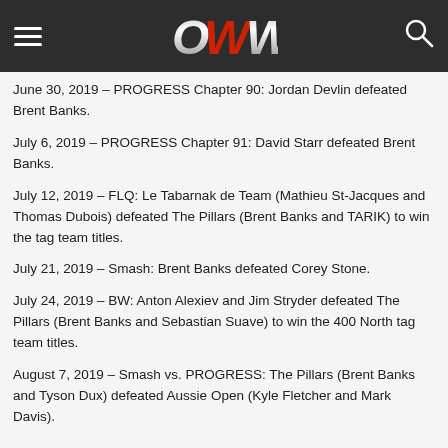OWW
June 30, 2019 – PROGRESS Chapter 90: Jordan Devlin defeated Brent Banks.
July 6, 2019 – PROGRESS Chapter 91: David Starr defeated Brent Banks.
July 12, 2019 – FLQ: Le Tabarnak de Team (Mathieu St-Jacques and Thomas Dubois) defeated The Pillars (Brent Banks and TARIK) to win the tag team titles.
July 21, 2019 – Smash: Brent Banks defeated Corey Stone.
July 24, 2019 – BW: Anton Alexiev and Jim Stryder defeated The Pillars (Brent Banks and Sebastian Suave) to win the 400 North tag team titles.
August 7, 2019 – Smash vs. PROGRESS: The Pillars (Brent Banks and Tyson Dux) defeated Aussie Open (Kyle Fletcher and Mark Davis).